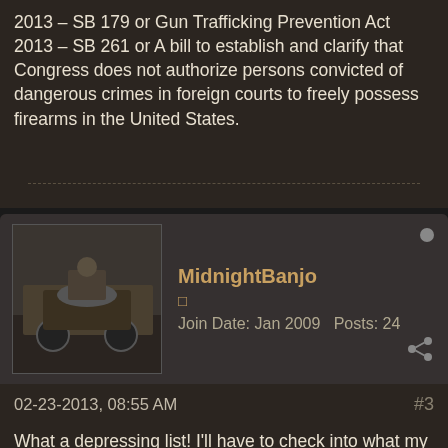2013 – SB 179 or Gun Trafficking Prevention Act
2013 – SB 261 or A bill to establish and clarify that Congress does not authorize persons convicted of dangerous crimes in foreign courts to freely possess firearms in the United States.
MidnightBanjo
□
Join Date: Jan 2009   Posts: 24
02-23-2013, 08:55 AM
#3
What a depressing list! I'll have to check into what my state, Oklahoma, is doing.